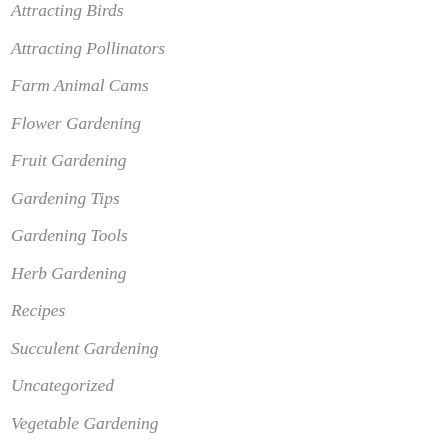Attracting Birds
Attracting Pollinators
Farm Animal Cams
Flower Gardening
Fruit Gardening
Gardening Tips
Gardening Tools
Herb Gardening
Recipes
Succulent Gardening
Uncategorized
Vegetable Gardening